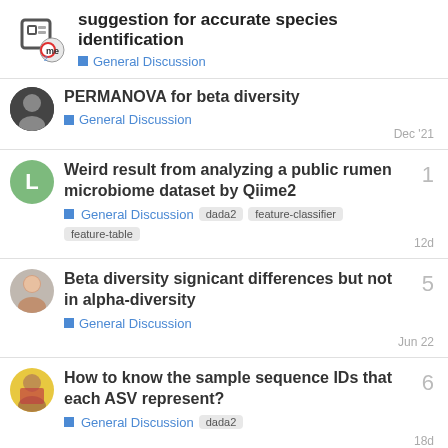suggestion for accurate species identification — General Discussion
PERMANOVA for beta diversity — General Discussion — Dec '21
Weird result from analyzing a public rumen microbiome dataset by Qiime2 — General Discussion — dada2, feature-classifier, feature-table — 12d — replies: 1
Beta diversity signicant differences but not in alpha-diversity — General Discussion — Jun 22 — replies: 5
How to know the sample sequence IDs that each ASV represent? — General Discussion — dada2 — 18d — replies: 6
Online courses to learn 16s metagenomic analyses — General Discussion — replies: 5